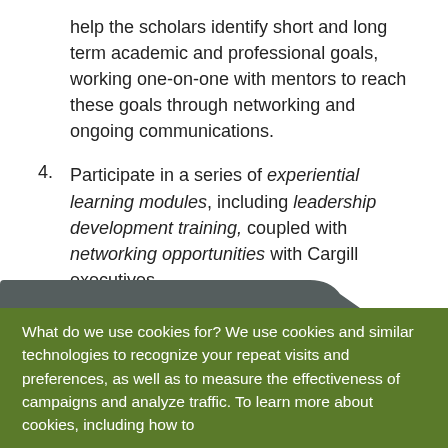help the scholars identify short and long term academic and professional goals, working one-on-one with mentors to reach these goals through networking and ongoing communications.
4. Participate in a series of experiential learning modules, including leadership development training, coupled with networking opportunities with Cargill executives.
5. Become a member of the Cargill Global Scholars Alumni community.
What do we use cookies for? We use cookies and similar technologies to recognize your repeat visits and preferences, as well as to measure the effectiveness of campaigns and analyze traffic. To learn more about cookies, including how to